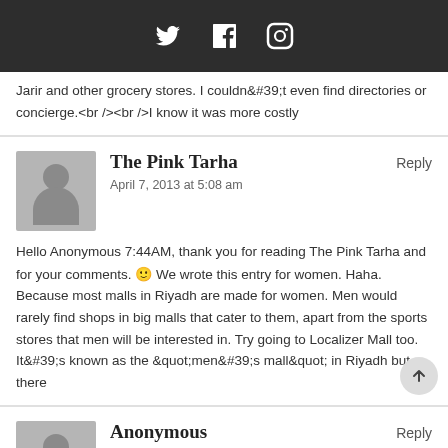[Social media icons: Twitter, Facebook, Instagram]
Jarir and other grocery stores. I couldn&#39;t even find directories or concierge.<br /><br />I know it was more costly
The Pink Tarha — Reply — April 7, 2013 at 5:08 am
Hello Anonymous 7:44AM, thank you for reading The Pink Tarha and for your comments. 🙂 We wrote this entry for women. Haha. Because most malls in Riyadh are made for women. Men would rarely find shops in big malls that cater to them, apart from the sports stores that men will be interested in. Try going to Localizer Mall too. It&#39;s known as the &quot;men&#39;s mall&quot; in Riyadh but there
Anonymous — Reply — April 8, 2013 at 12:10 pm